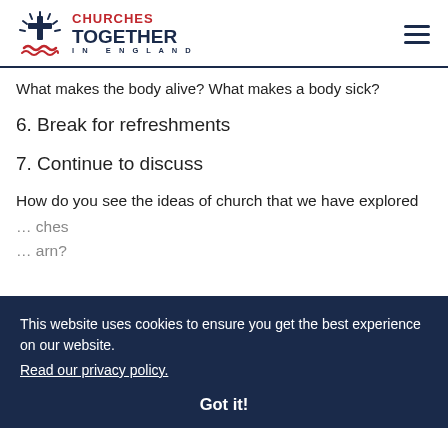Churches Together in England
What makes the body alive? What makes a body sick?
6. Break for refreshments
7. Continue to discuss
How do you see the ideas of church that we have explored
This website uses cookies to ensure you get the best experience on our website. Read our privacy policy.
Got it!